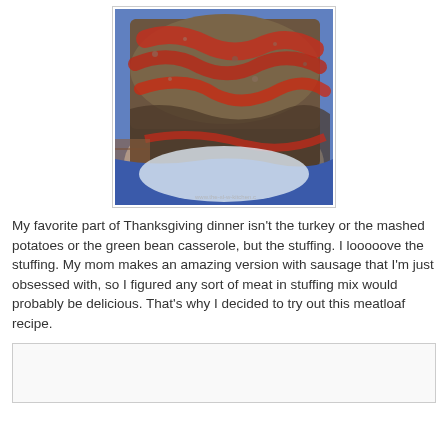[Figure (photo): Close-up photo of meatloaf with ketchup glaze on a white plate with blue background. Watermark reads www.the-slow-kitchen.com]
My favorite part of Thanksgiving dinner isn't the turkey or the mashed potatoes or the green bean casserole, but the stuffing. I looooove the stuffing. My mom makes an amazing version with sausage that I'm just obsessed with, so I figured any sort of meat in stuffing mix would probably be delicious. That's why I decided to try out this meatloaf recipe.